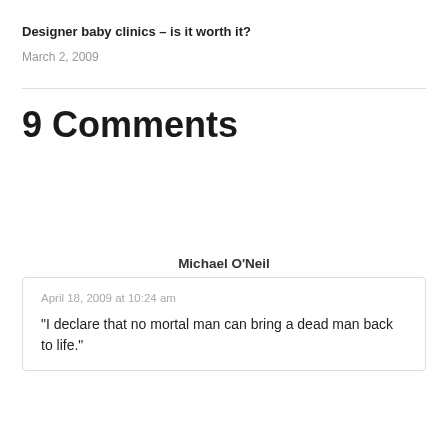Designer baby clinics – is it worth it?
March 2, 2009
9 Comments
Michael O'Neil
April 18, 2009 at 10:24 am
“I declare that no mortal man can bring a dead man back to life.”